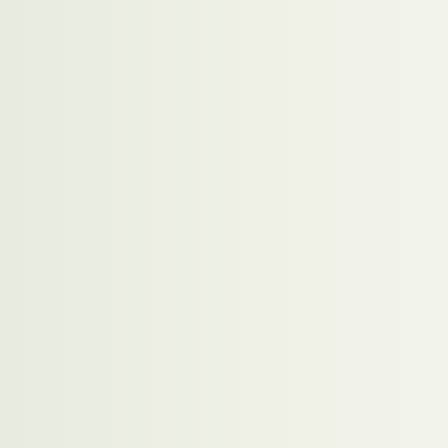other Zamboanguenos lo… other tribes who are also l… own by anybody, for if so,… away from bigotry, for bigo… happen in Al - Andalus ma…
To the two opposing partie… conflict in Mindanao. Histo… everywhere. Civilian intere… over the will of the politicia… people is supposed to be i… and vested interested.
At any rate, those involved… justice should be true to al… all and must be upheld aft… with courteousness.
If there is one most import… the psycho-social aspect. … challenge in my humble op… non-Muslims in the city. Th…